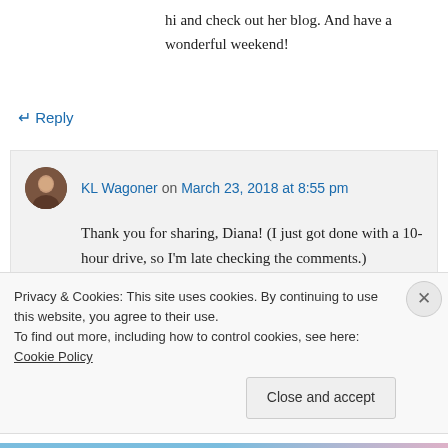hi and check out her blog. And have a wonderful weekend!
↵ Reply
KL Wagoner on March 23, 2018 at 8:55 pm
Thank you for sharing, Diana! (I just got done with a 10-hour drive, so I'm late checking the comments.)
Privacy & Cookies: This site uses cookies. By continuing to use this website, you agree to their use.
To find out more, including how to control cookies, see here: Cookie Policy